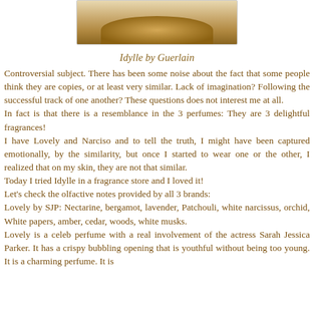[Figure (photo): Partial image of Idylle by Guerlain perfume bottle, showing the top portion with golden/cream coloring against white background]
Idylle by Guerlain
Controversial subject. There has been some noise about the fact that some people think they are copies, or at least very similar. Lack of imagination? Following the successful track of one another? These questions does not interest me at all.
In fact is that there is a resemblance in the 3 perfumes: They are 3 delightful fragrances!
I have Lovely and Narciso and to tell the truth, I might have been captured emotionally, by the similarity, but once I started to wear one or the other, I realized that on my skin, they are not that similar.
Today I tried Idylle in a fragrance store and I loved it!
Let's check the olfactive notes provided by all 3 brands:
Lovely by SJP: Nectarine, bergamot, lavender, Patchouli, white narcissus, orchid, White papers, amber, cedar, woods, white musks.
Lovely is a celeb perfume with a real involvement of the actress Sarah Jessica Parker. It has a crispy bubbling opening that is youthful without being too young. It is a charming perfume. It is